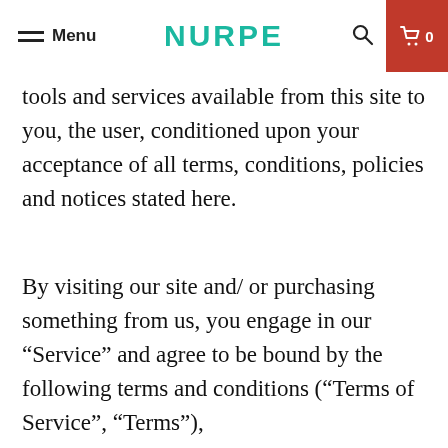Menu | NURPE | [search] [cart 0]
tools and services available from this site to you, the user, conditioned upon your acceptance of all terms, conditions, policies and notices stated here.
By visiting our site and/ or purchasing something from us, you engage in our “Service” and agree to be bound by the following terms and conditions (“Terms of Service”, “Terms”),